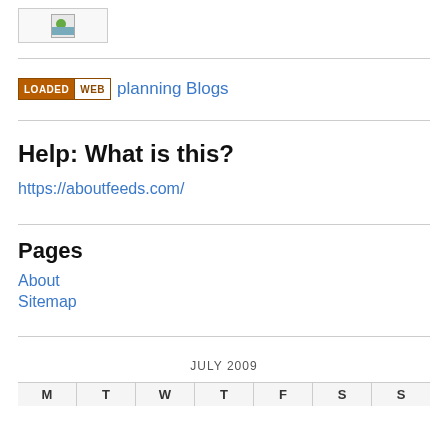[Figure (logo): Small image placeholder with broken image icon]
[Figure (logo): LOADED WEB badge logo followed by 'planning Blogs' link text]
Help: What is this?
https://aboutfeeds.com/
Pages
About
Sitemap
JULY 2009
| M | T | W | T | F | S | S |
| --- | --- | --- | --- | --- | --- | --- |